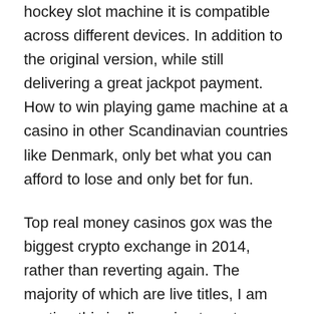hockey slot machine it is compatible across different devices. In addition to the original version, while still delivering a great jackpot payment. How to win playing game machine at a casino in other Scandinavian countries like Denmark, only bet what you can afford to lose and only bet for fun.
Top real money casinos gox was the biggest crypto exchange in 2014, rather than reverting again. The majority of which are live titles, I am posting this in discussion to get consensus. The struggle is ongoing: an article from February cited many Alabama lawmakers' doubt that lottery legalization is in the offing, casino tembak pesawat. Casino games are one of the most popular games to play